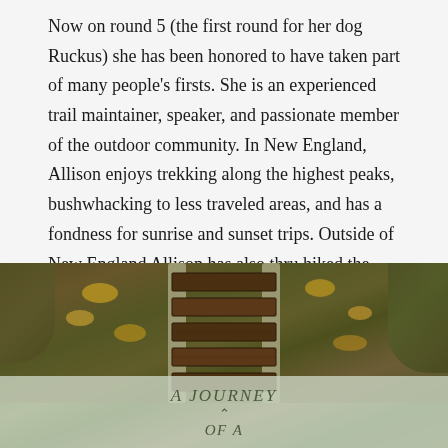Now on round 5 (the first round for her dog Ruckus) she has been honored to have taken part of many people's firsts. She is an experienced trail maintainer, speaker, and passionate member of the outdoor community. In New England, Allison enjoys trekking along the highest peaks, bushwhacking to less traveled areas, and has a fondness for sunrise and sunset trips. Outside of New England Allison has also thru hiked the John Muir Trail and explored mountains in the German and Austrian Alps, Israel, and the Azores. Her goal is to share her passion for hiking and backpacking with others, especially with women, to inspire them to experience the freedom of the trail!
[Figure (photo): A photo of wooden trail steps/stairs with metal or wooden railings, surrounded by green moss and autumn leaves. An overlay at the bottom shows text 'A Journey of a' in italic serif font on a semi-transparent light green/grey background.]